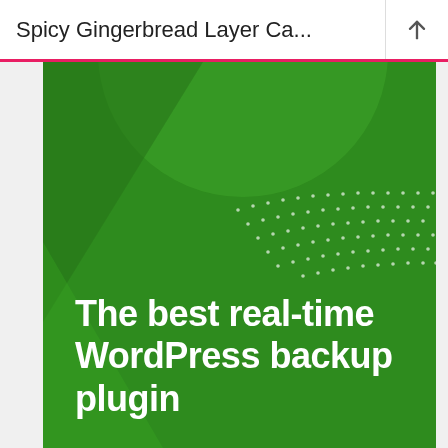Spicy Gingerbread Layer Ca...
[Figure (screenshot): A green promotional banner for a WordPress backup plugin. The green background features decorative geometric shapes (a large circle at the top, diagonal triangular shapes) and a dotted pattern in the lower right. Bold white text reads: The best real-time WordPress backup plugin.]
The best real-time WordPress backup plugin